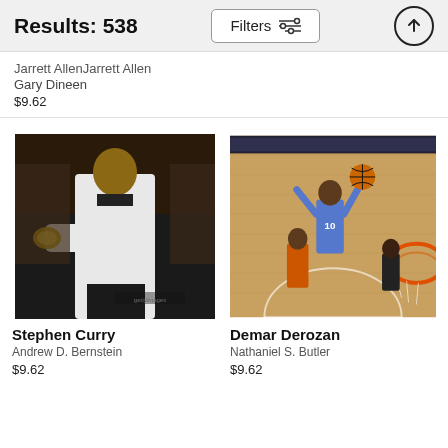Results: 538
Jarrett Allen
Gary Dineen
$9.62
[Figure (photo): Stephen Curry in white jacket showing championship ring, NBA basketball photo]
Stephen Curry
Andrew D. Bernstein
$9.62
[Figure (photo): Demar Derozan #10 dunking at NBA All-Star game, aerial view of basketball court]
Demar Derozan
Nathaniel S. Butler
$9.62